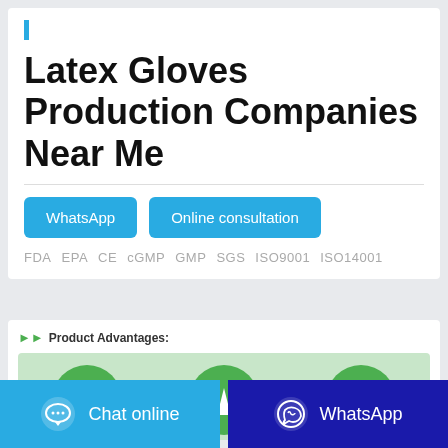Latex Gloves Production Companies Near Me
WhatsApp  Online consultation
FDA  EPA  CE  cGMP  GMP  SGS  ISO9001  ISO14001
Product Advantages:
[Figure (infographic): Three green circular icons representing product advantages: a hand/care icon, a droplet/filter icon, and a water droplet icon, on a light green background.]
Chat online
WhatsApp